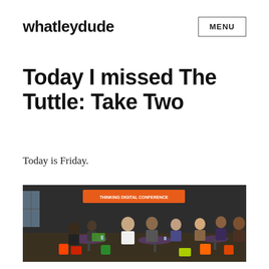whatleydude  MENU
Today I missed The Tuttle: Take Two
Today is Friday.
[Figure (photo): People sitting around tables in a cafe/meeting space with colourful chairs and a dark chalkboard wall in the background with an orange banner.]